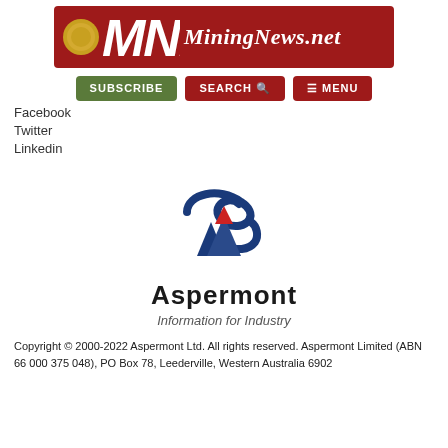[Figure (logo): MiningNews.net logo banner with red background, gold coin, bold italic MNN letters, and site name in white italic text]
[Figure (other): Subscribe, Search, and Menu navigation buttons]
Facebook
Twitter
Linkedin
[Figure (logo): Aspermont logo with blue swoosh, red triangle, dark blue mountain/figure shape, bold Aspermont text, and tagline Information for Industry]
Copyright © 2000-2022 Aspermont Ltd. All rights reserved. Aspermont Limited (ABN 66 000 375 048), PO Box 78, Leederville, Western Australia 6902